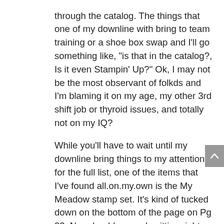through the catalog.  The things that one of my downline with bring to team training or a shoe box swap and I'll go something like, "is that in the catalog?, Is it even Stampin' Up?"  Ok, I may not be the most observant of folkds and I'm blaming it on my age, my other 3rd shift job or thyroid issues, and totally not on my IQ?

While you'll have to wait until my downline bring things to my attention for the full list, one of the items that I've found all.on.my.own is the My Meadow stamp set.  It's kind of tucked down on the bottom of the page on Pg 23.  No adorable sample sitting right next to it to inspire you…so you may have done what I did… just flipped right past.  But wait, go back…it's a really cute set.  I'm telling you…